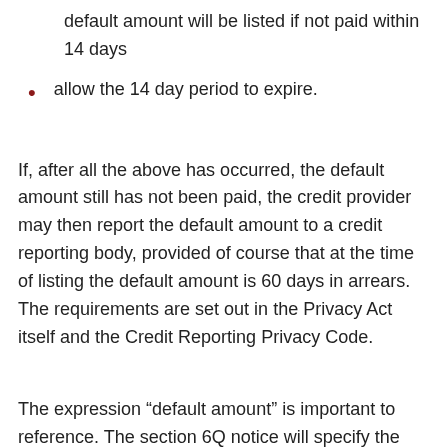default amount will be listed if not paid within 14 days
allow the 14 day period to expire.
If, after all the above has occurred, the default amount still has not been paid, the credit provider may then report the default amount to a credit reporting body, provided of course that at the time of listing the default amount is 60 days in arrears. The requirements are set out in the Privacy Act itself and the Credit Reporting Privacy Code.
The expression “default amount” is important to reference. The section 6Q notice will specify the default amount. This is also the amount (subject to